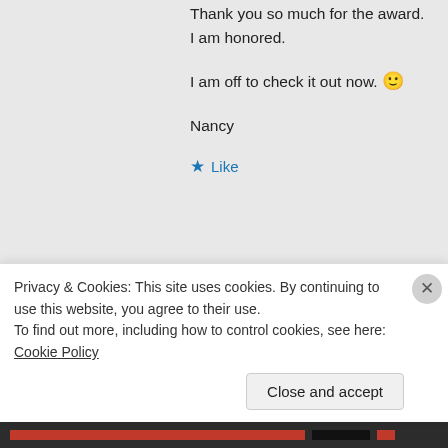Thank you so much for the award. I am honored.
I am off to check it out now. 🙂
Nancy
★ Like
↪ Reply
swethadhaara on June 14, 2014 at 12:09 am
Privacy & Cookies: This site uses cookies. By continuing to use this website, you agree to their use.
To find out more, including how to control cookies, see here: Cookie Policy
Close and accept